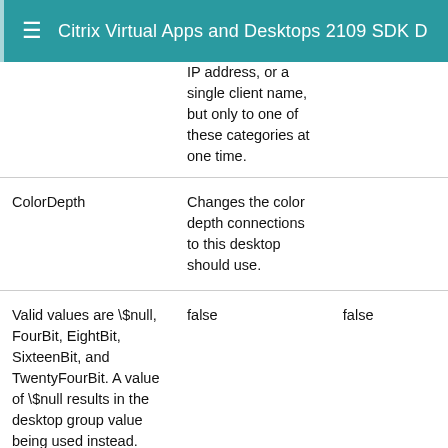Citrix Virtual Apps and Desktops 2109 SDK D
|  | IP address, or a single client name, but only to one of these categories at one time. |  |
| ColorDepth | Changes the color depth connections to this desktop should use. |  |
| Valid values are \$null, FourBit, EightBit, SixteenBit, and TwentyFourBit. A value of \$null results in the desktop group value being used instead. | false | false |